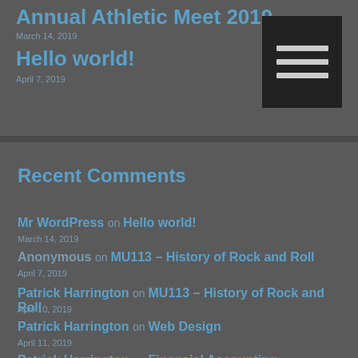Annual Athletic Meet 2019
Hello world!
Recent Comments
Mr WordPress on Hello world!
Anonymous on MU113 – History of Rock and Roll
Patrick Harrington on MU113 – History of Rock and Roll
Patrick Harrington on Web Design
Patrick Harrington on Financial Accounting
January 2022